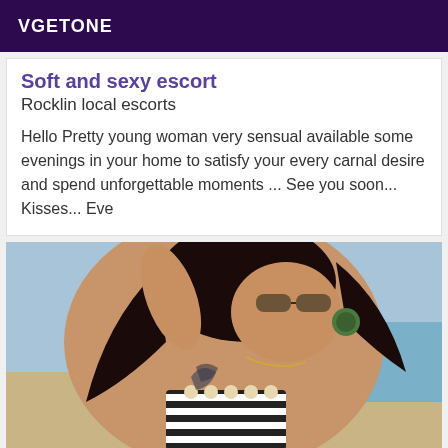VGETONE
Soft and sexy escort
Rocklin local escorts
Hello Pretty young woman very sensual available some evenings in your home to satisfy your every carnal desire and spend unforgettable moments ... See you soon... Kisses... Eve
[Figure (photo): A woman with long dark hair wearing sunglasses and a black and white striped bikini top with shell decorations, with a tattoo on her chest, photographed outdoors at a beach setting.]